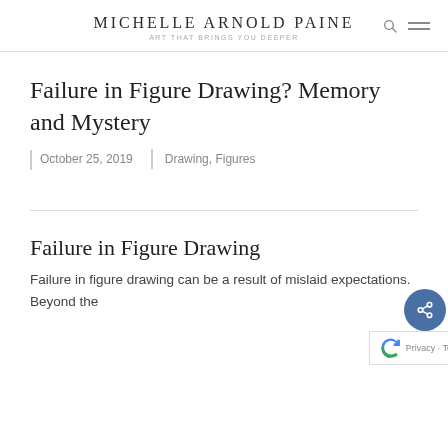MICHELLE ARNOLD PAINE
ART THAT BRINGS YOU DEEPER
Failure in Figure Drawing? Memory and Mystery
October 25, 2019 | Drawing, Figures
Failure in Figure Drawing
Failure in figure drawing can be a result of mislaid expectations. Beyond the